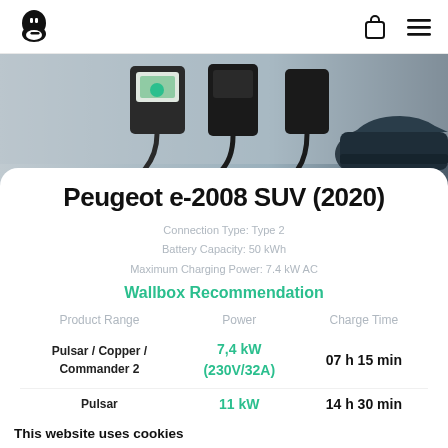Wallbox logo, cart icon, menu icon
[Figure (photo): Photo of electric vehicle charging stations / wallboxes mounted on a wall with cables, and a dark car on the right side]
Peugeot e-2008 SUV (2020)
Connection Type: Type 2
Battery Capacity: 50 kWh
Maximum Charging Power: 7.4 kW AC
Wallbox Recommendation
| Product Range | Power | Charge Time |
| --- | --- | --- |
| Pulsar / Copper / Commander 2 | 7,4 kW (230V/32A) | 07 h 15 min |
| Pulsar | 11 kW | 14 h 30 min |
This website uses cookies